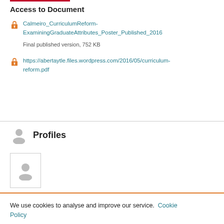Access to Document
Calmeiro_CurriculumReform-ExaminingGraduateAttributes_Poster_Published_2016
Final published version, 752 KB
https://abertaytle.files.wordpress.com/2016/05/curriculum-reform.pdf
Profiles
[Figure (illustration): Profile avatar placeholder card with person icon]
We use cookies to analyse and improve our service. Cookie Policy